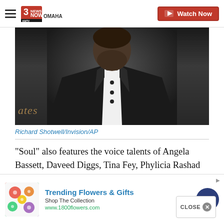3 News Now KMTV Omaha — Watch Now
[Figure (photo): Man in black tuxedo with bow tie, cropped from shoulders up, dark background, partial text 'ates' visible in lower left corner]
Richard Shotwell/Invision/AP
“Soul” also features the voice talents of Angela Bassett, Daveed Diggs, Tina Fey, Phylicia Rashad and Ahmir “Questlove” Thompson.
Pete Docter, the movie’s director and chief creativ…
[Figure (screenshot): Advertisement banner: Trending Flowers & Gifts — Shop The Collection — www.1800flowers.com]